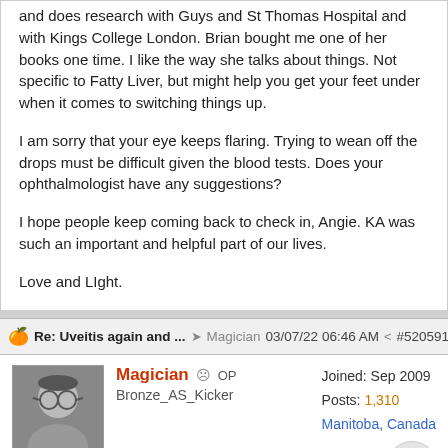and does research with Guys and St Thomas Hospital and with Kings College London. Brian bought me one of her books one time. I like the way she talks about things. Not specific to Fatty Liver, but might help you get your feet under when it comes to switching things up.
I am sorry that your eye keeps flaring. Trying to wean off the drops must be difficult given the blood tests. Does your ophthalmologist have any suggestions?
I hope people keep coming back to check in, Angie. KA was such an important and helpful part of our lives.
Love and LIght.
Re: Uveitis again and ... Magician 03/07/22 06:46 AM #520591
Magician OP Bronze_AS_Kicker Joined: Sep 2009 Posts: 1,310 Manitoba, Canada
I go to see my optometrist next week. Can't wait to get the eye